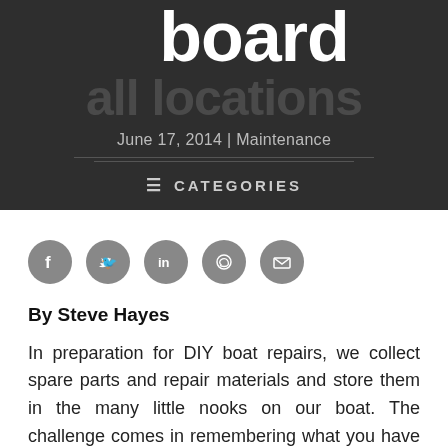board all locations
June 17, 2014 | Maintenance
≡ CATEGORIES
[Figure (illustration): Social share icons: Facebook, Twitter, LinkedIn, WhatsApp, Email]
By Steve Hayes
In preparation for DIY boat repairs, we collect spare parts and repair materials and store them in the many little nooks on our boat. The challenge comes in remembering what you have and locating it when you need it.